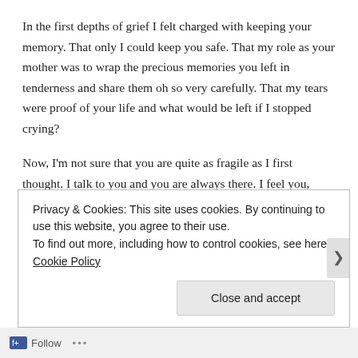In the first depths of grief I felt charged with keeping your memory. That only I could keep you safe. That my role as your mother was to wrap the precious memories you left in tenderness and share them oh so very carefully. That my tears were proof of your life and what would be left if I stopped crying?
Now, I'm not sure that you are quite as fragile as I first thought. I talk to you and you are always there. I feel you, even when days have passed without turning my thoughts to you. Your presence hasn't faded. It's grown more constant.  Not so steeped in sadness.
Perhaps we both grew stronger.
Privacy & Cookies: This site uses cookies. By continuing to use this website, you agree to their use.
To find out more, including how to control cookies, see here: Cookie Policy
Close and accept
Follow ...